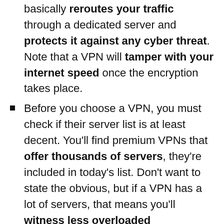basically reroutes your traffic through a dedicated server and protects it against any cyber threat. Note that a VPN will tamper with your internet speed once the encryption takes place.
Before you choose a VPN, you must check if their server list is at least decent. You'll find premium VPNs that offer thousands of servers, they're included in today's list. Don't want to state the obvious, but if a VPN has a lot of servers, that means you'll witness less overloaded connections.
Make sure to investigate everything the VPN has to offer. I'm talking about privacy policies, security protocols, and the likes. If a VPN doesn't have a no-log policy, it's useless